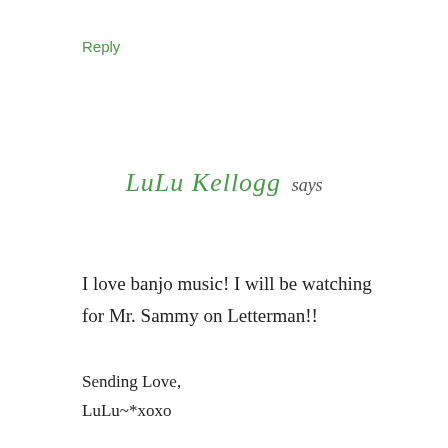Reply
LuLu Kellogg says
I love banjo music! I will be watching for Mr. Sammy on Letterman!!
Sending Love,
LuLu~*xoxo